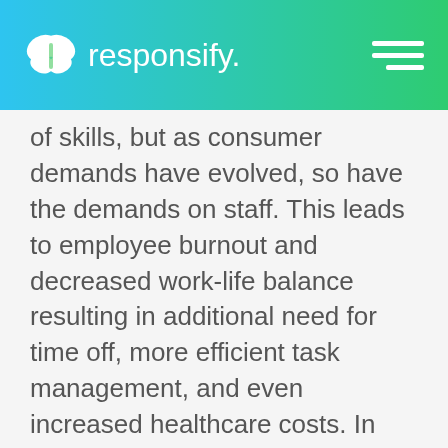responsify.
of skills, but as consumer demands have evolved, so have the demands on staff. This leads to employee burnout and decreased work-life balance resulting in additional need for time off, more efficient task management, and even increased healthcare costs. In addition to expecting staff to do their job well, they are now expected to become experts in customer persona profiling, knowledge of the Buyer's Journey, and knowing exactly what types of content will be productive in your particular industry at any given time.